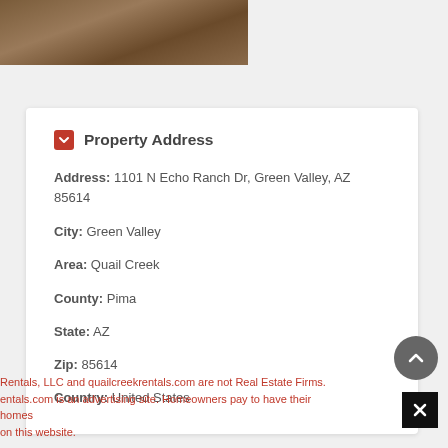[Figure (photo): Partial photo of hardwood floor, cropped at top of page]
Property Address
Address: 1101 N Echo Ranch Dr, Green Valley, AZ 85614
City: Green Valley
Area: Quail Creek
County: Pima
State: AZ
Zip: 85614
Country: United States
Rentals, LLC and quailcreekrentals.com are not Real Estate Firms. entals.com is an advertising site. Homeowners pay to have their homes on this website.